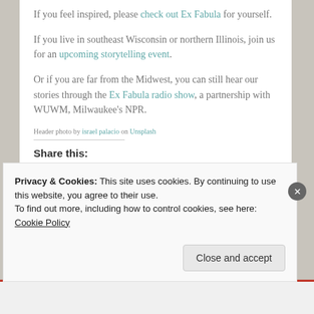If you feel inspired, please check out Ex Fabula for yourself.
If you live in southeast Wisconsin or northern Illinois, join us for an upcoming storytelling event.
Or if you are far from the Midwest, you can still hear our stories through the Ex Fabula radio show, a partnership with WUWM, Milwaukee's NPR.
Header photo by israel palacio on Unsplash
Share this:
Twitter  Facebook  Tumblr  LinkedIn
Privacy & Cookies: This site uses cookies. By continuing to use this website, you agree to their use.
To find out more, including how to control cookies, see here: Cookie Policy